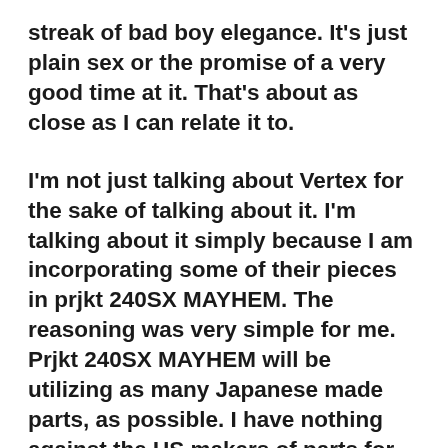streak of bad boy elegance. It’s just plain sex or the promise of a very good time at it. That’s about as close as I can relate it to.
I’m not just talking about Vertex for the sake of talking about it. I’m talking about it simply because I am incorporating some of their pieces in prjkt 240SX MAYHEM. The reasoning was very simple for me. Prjkt 240SX MAYHEM will be utilizing as many Japanese made parts, as possible. I have nothing against the US makers of parts for the 240SX, and I could